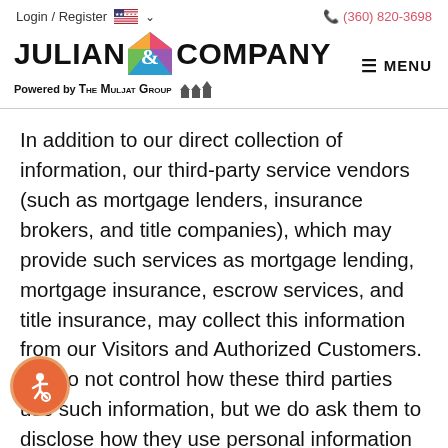Login / Register  (360) 820-3698
[Figure (logo): Julian & Company logo with colorful diamond/house ampersand icon, and 'Powered by The Muljat Group' with house icons below]
In addition to our direct collection of information, our third-party service vendors (such as mortgage lenders, insurance brokers, and title companies), which may provide such services as mortgage lending, mortgage insurance, escrow services, and title insurance, may collect this information from our Visitors and Authorized Customers. We do not control how these third parties use such information, but we do ask them to disclose how they use personal information provided to them by Visitors and Authorized Customers. Some of these third parties may be